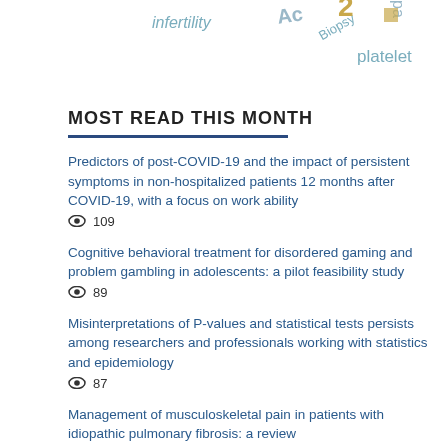[Figure (infographic): Word cloud showing medical/research terms: infertility, Acne, Biopsy, pain (partial), platelet, and other partially visible words in various colors (teal, blue, gold).]
MOST READ THIS MONTH
Predictors of post-COVID-19 and the impact of persistent symptoms in non-hospitalized patients 12 months after COVID-19, with a focus on work ability
👁 109
Cognitive behavioral treatment for disordered gaming and problem gambling in adolescents: a pilot feasibility study
👁 89
Misinterpretations of P-values and statistical tests persists among researchers and professionals working with statistics and epidemiology
👁 87
Management of musculoskeletal pain in patients with idiopathic pulmonary fibrosis: a review